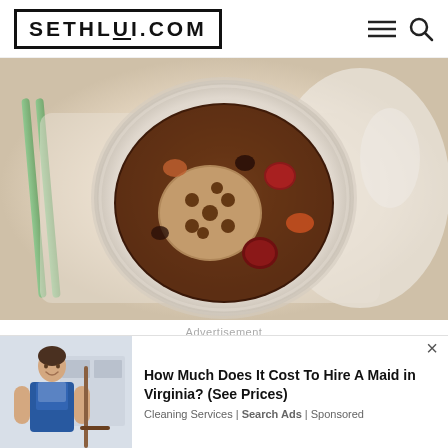SETHLUI.COM
[Figure (photo): Top-down photo of a bowl of Chinese herbal soup or dessert with lotus root slice, red dates, and other ingredients in a white ceramic bowl on a tray with chopsticks]
Advertisement
[Figure (screenshot): Orange advertisement banner with white italic text reading 'BestSelling' with a blue X close button]
[Figure (screenshot): Overlay ad showing a maid/cleaner with text: How Much Does It Cost To Hire A Maid in Virginia? (See Prices) — Cleaning Services | Search Ads | Sponsored]